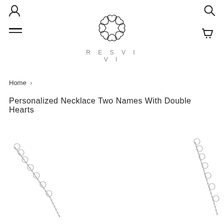[Figure (logo): RESVIVI brand logo with a floral/heart mandala symbol above the brand name in spaced letters]
Home ›
Personalized Necklace Two Names With Double Hearts
[Figure (photo): Product photo showing two silver chain necklaces partially visible from the bottom of the page]